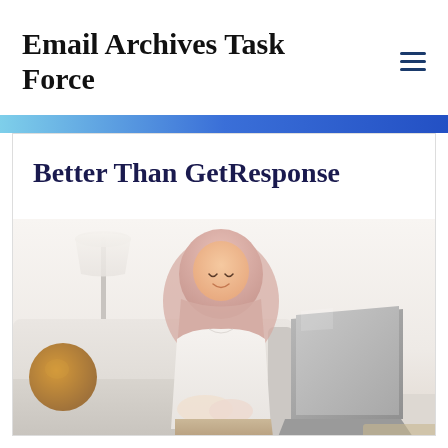Email Archives Task Force
Better Than GetResponse
[Figure (photo): A woman wearing a pink hijab and white top sits on a white sofa, smiling while looking at an open laptop. A round orange cushion and a floor lamp are visible in the background.]